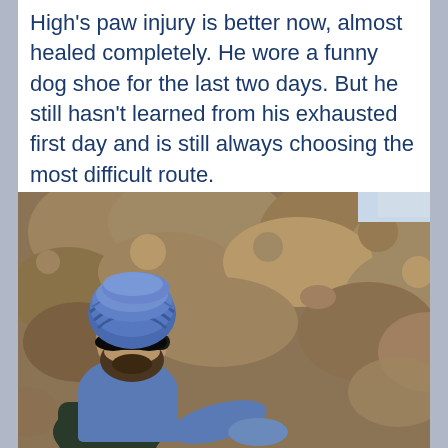High's paw injury is better now, almost healed completely. He wore a funny dog shoe for the last two days. But he still hasn't learned from his exhausted first day and is still always choosing the most difficult route.
[Figure (photo): A bearded man wearing a blue turban and dark sunglasses, dressed in a blue shirt with a dark backpack, sitting or standing in front of a rocky mountainside terrain. The rocks are tan/brown colored. The photo is taken outdoors.]